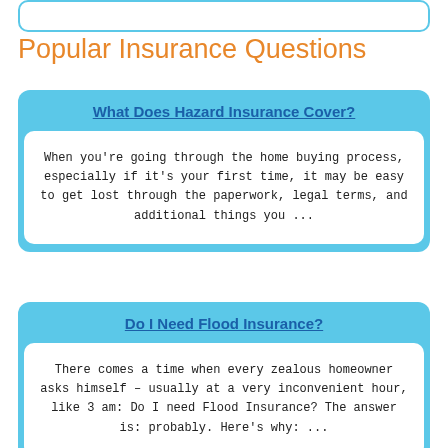Popular Insurance Questions
What Does Hazard Insurance Cover?
When you're going through the home buying process, especially if it's your first time, it may be easy to get lost through the paperwork, legal terms, and additional things you ...
Do I Need Flood Insurance?
There comes a time when every zealous homeowner asks himself – usually at a very inconvenient hour, like 3 am: Do I need Flood Insurance? The answer is: probably. Here's why: ...
What Do I Need To Know About Indemnity Insurance
A principal of insurance which considers that the damages be compensated the...